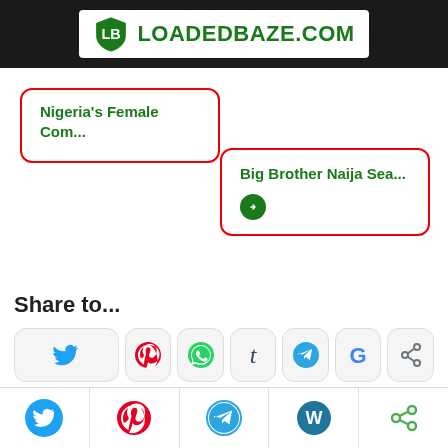[Figure (logo): LoadedBaze.com logo with shield icon on dark header bar]
Nigeria's Female Com...
Big Brother Naija Sea...
Share to...
[Figure (infographic): Row of social share buttons: Twitter, Pinterest, WhatsApp, Tumblr, Telegram, Google, Share]
Read Also
#EndSARS: Corporate Affairs Commission Deregisters
[Figure (infographic): Bottom navigation bar with Twitter, Pinterest, Telegram, WordPress and Share icons]